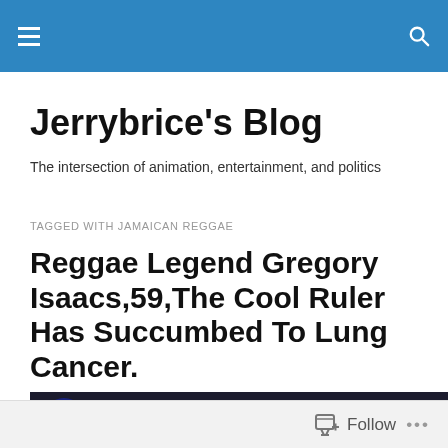Jerrybrice's Blog navigation bar
Jerrybrice's Blog
The intersection of animation, entertainment, and politics
TAGGED WITH JAMAICAN REGGAE
Reggae Legend Gregory Isaacs,59,The Cool Ruler Has Succumbed To Lung Cancer.
[Figure (screenshot): Video thumbnail showing Gregory Isaacs Night Nurse YouTube video with circular logo icon and three-dot menu]
Follow ...